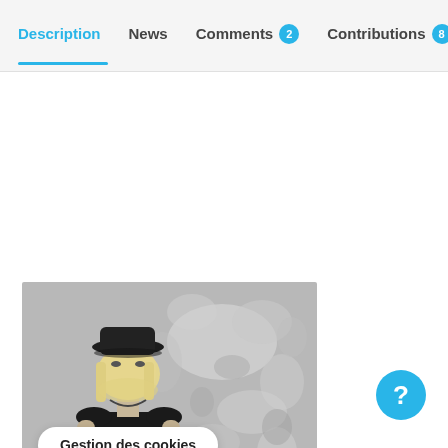Description | News | Comments 2 | Contributions 8
[Figure (photo): Black and white photo of a young woman wearing a wide-brimmed black hat, blonde bob haircut, and a graphic sleeveless top, standing in front of a textured peeling wall.]
Gestion des cookies